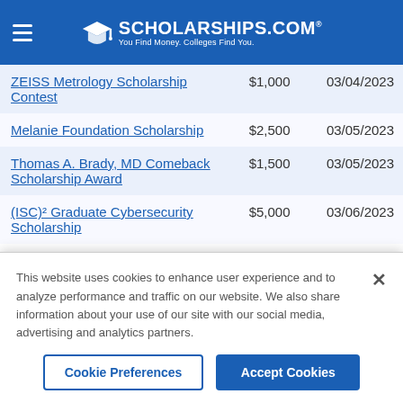SCHOLARSHIPS.COM — You Find Money. Colleges Find You.
| Scholarship Name | Amount | Deadline |
| --- | --- | --- |
| ZEISS Metrology Scholarship Contest | $1,000 | 03/04/2023 |
| Melanie Foundation Scholarship | $2,500 | 03/05/2023 |
| Thomas A. Brady, MD Comeback Scholarship Award | $1,500 | 03/05/2023 |
| (ISC)² Graduate Cybersecurity Scholarship | $5,000 | 03/06/2023 |
This website uses cookies to enhance user experience and to analyze performance and traffic on our website. We also share information about your use of our site with our social media, advertising and analytics partners.
Cookie Preferences | Accept Cookies